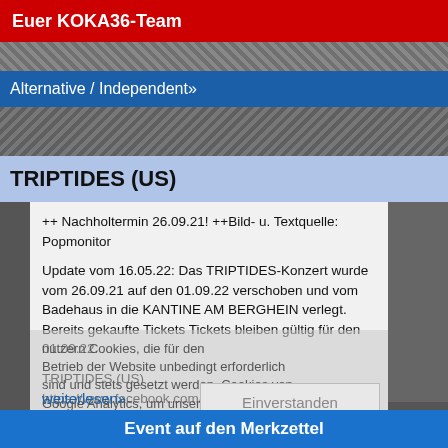Euer KOKA36-Team
Alternative / Independent»
TRIPTIDES (US)
++ Nachholtermin 26.09.21! ++Bild- u. Textquelle: Popmonitor
Update vom 16.05.22: Das TRIPTIDES-Konzert wurde vom 26.09.21 auf den 01.09.22 verschoben und vom Badehaus in die KANTINE AM BERGHEIN verlegt. Bereits gekaufte Tickets Tickets bleiben gültig für den 01.09.22.
TRIPTIDES (US)
https://www.facebook.com/Triptides
Among the newest generation of bands in the tradition of West Coast psychedelia, TRIPTIDES have blossomed into the...
weiterlesen»
Einverstanden
Event auf den Merkzettel